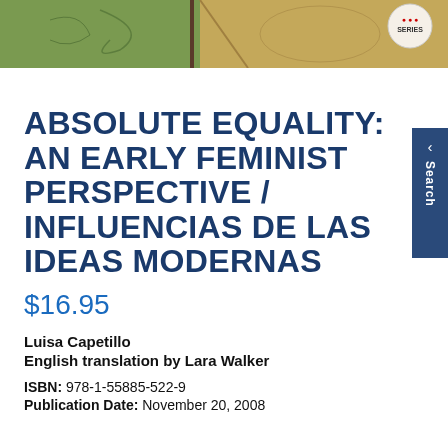[Figure (illustration): Book cover image showing a map or historical illustration with green and tan/brown tones, with a 'Series' badge in the top right corner]
ABSOLUTE EQUALITY: AN EARLY FEMINIST PERSPECTIVE / INFLUENCIAS DE LAS IDEAS MODERNAS
$16.95
Luisa Capetillo
English translation by Lara Walker
ISBN: 978-1-55885-522-9
Publication Date: November 20, 2008